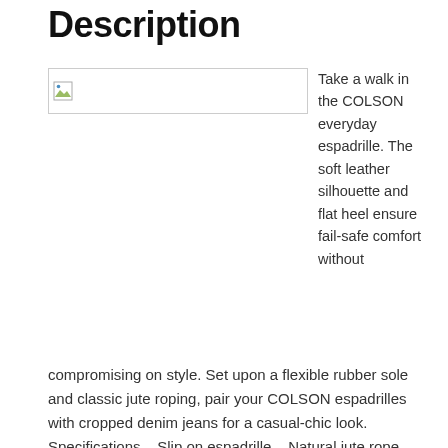Description
[Figure (photo): Broken/missing image placeholder showing a small image icon]
Take a walk in the COLSON everyday espadrille. The soft leather silhouette and flat heel ensure fail-safe comfort without compromising on style. Set upon a flexible rubber sole and classic jute roping, pair your COLSON espadrilles with cropped denim jeans for a casual-chic look. Specifications – Slip on espadrille – Natural jute rope –